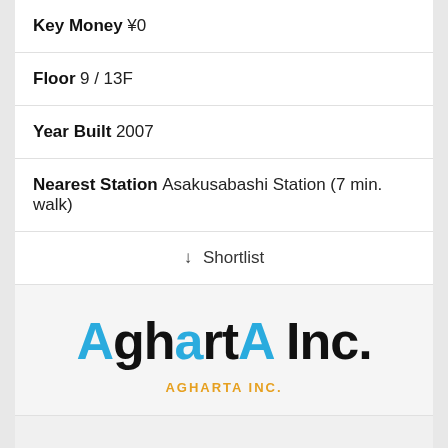Key Money ¥0
Floor 9 / 13F
Year Built 2007
Nearest Station Asakusabashi Station (7 min. walk)
↓ Shortlist
[Figure (logo): AghartA Inc. company logo with blue and black stylized text]
AGHARTA INC.
[Figure (illustration): Partial view of a building/property icon at bottom of page]